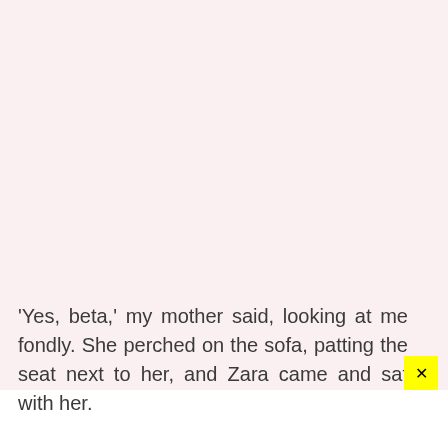‘Yes, beta,’ my mother said, looking at me fondly. She perched on the sofa, patting the seat next to her, and Zara came and sat with her.